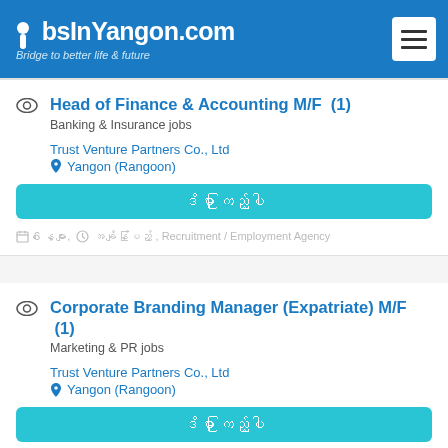JobsInYangon.com — Bridge to better life & future
Head of Finance & Accounting M/F (1)
Banking & Insurance jobs
Trust Venture Partners Co., Ltd
Yangon (Rangoon)
ဒိမှာ ကြည့်ပါ
📅 6 နေ့များ, 🕐 အချိန်ပြည့် , Recruitment / Employment Agency
Corporate Branding Manager (Expatriate) M/F (1)
Marketing & PR jobs
Trust Venture Partners Co., Ltd
Yangon (Rangoon)
ဒိမှာ ကြည့်ပါ
📅 6 နေ့များ, 🕐 အချိန်ပြည့် , Recruitment / Employment Agency